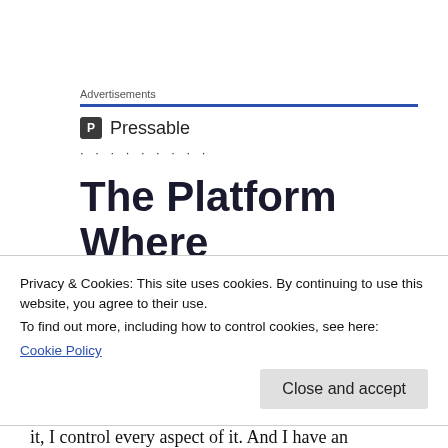Advertisements
[Figure (logo): Pressable logo with blue P icon and 'Pressable' text, followed by dotted line separator, then large bold headline: 'The Platform Where WordPress' with 'WordPress' in blue]
I'm rebuilding my temple right now. I'm
Privacy & Cookies: This site uses cookies. By continuing to use this website, you agree to their use.
To find out more, including how to control cookies, see here:
Cookie Policy
it, I control every aspect of it.  And I have an